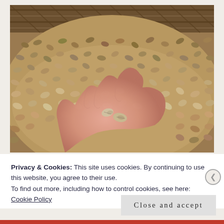[Figure (photo): A hand holding a few coffee beans over a large pile of unroasted/green coffee beans spread on a surface, with a woven basket visible in the background.]
Privacy & Cookies: This site uses cookies. By continuing to use this website, you agree to their use.
To find out more, including how to control cookies, see here: Cookie Policy
Close and accept